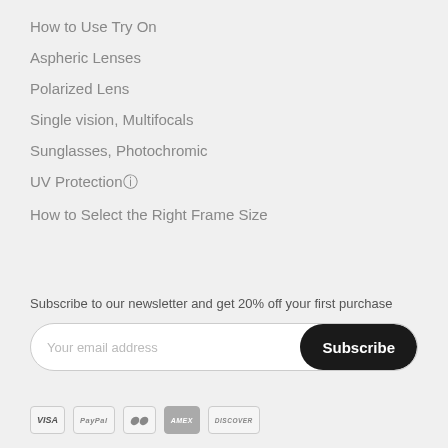How to Use Try On
Aspheric Lenses
Polarized Lens
Single vision, Multifocals
Sunglasses, Photochromic
UV Protection🛈
How to Select the Right Frame Size
Subscribe to our newsletter and get 20% off your first purchase
Your email address
Subscribe
[Figure (other): Payment method icons: VISA, PayPal, Mastercard, AMEX, Discover]